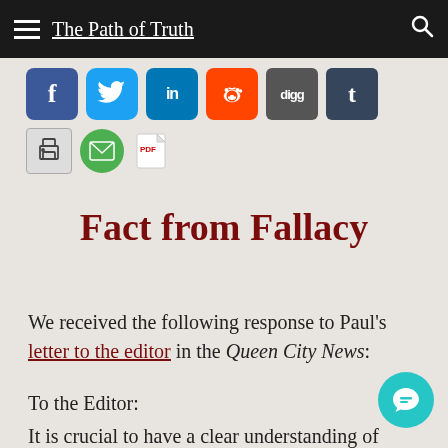The Path of Truth
[Figure (infographic): Social media sharing icons: Facebook, Twitter, LinkedIn, Reddit, Digg, Tumblr, and utility icons for Print, Email, PDF]
Fact from Fallacy
We received the following response to Paul's letter to the editor in the Queen City News:
To the Editor:
It is crucial to have a clear understanding of issues before making a decision. Especially in light of the ongoing War on Terror, knowing fact from fallacy avoids falling into